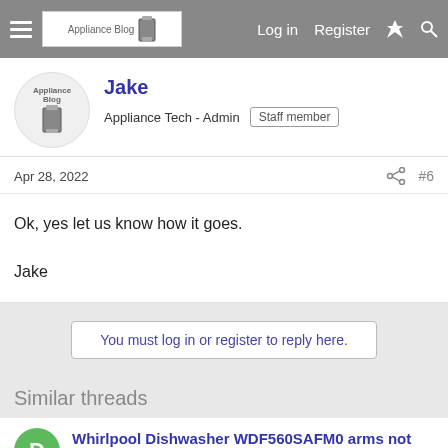Appliance Blog | Log in | Register
Jake
Appliance Tech - Admin | Staff member
Apr 28, 2022 #6
Ok, yes let us know how it goes.

Jake
You must log in or register to reply here.
Similar threads
Whirlpool Dishwasher WDF560SAFM0 arms not spinning, dishes not getting cleaned.
dman535 · Whirlpool/Roper/Estate
Replies: 2 · Aug 4, 2022